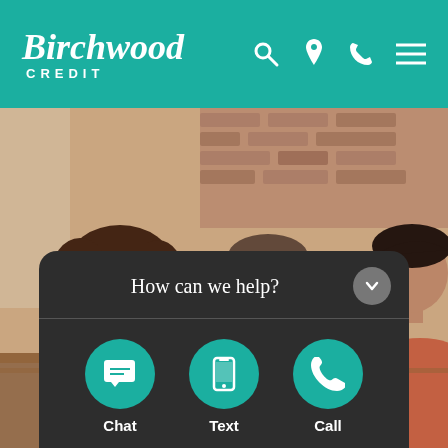[Figure (logo): Birchwood Credit logo in white italic text on teal header background]
[Figure (photo): Three people smiling and looking at documents together — a woman with curly hair and glasses, a bearded man in plaid shirt, and another man in orange shirt]
How can we help?
Chat
Text
Call